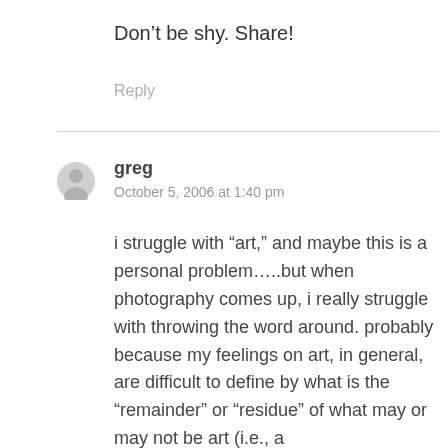Don’t be shy. Share!
Reply
greg
October 5, 2006 at 1:40 pm
i struggle with “art,” and maybe this is a personal problem…..but when photography comes up, i really struggle with throwing the word around. probably because my feelings on art, in general, are difficult to define by what is the “remainder” or “residue” of what may or may not be art (i.e., a